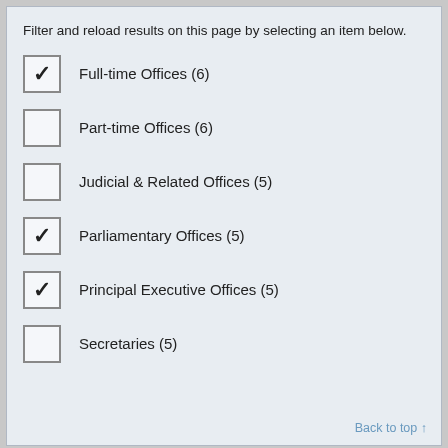Filter and reload results on this page by selecting an item below.
Full-time Offices (6) [checked]
Part-time Offices (6) [unchecked]
Judicial & Related Offices (5) [unchecked]
Parliamentary Offices (5) [checked]
Principal Executive Offices (5) [checked]
Secretaries (5) [unchecked]
Back to top ↑